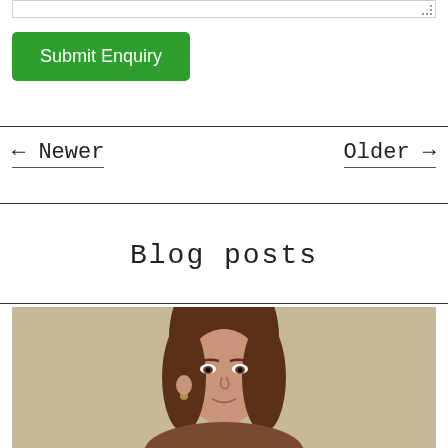[Figure (screenshot): Textarea input box with resize handle in bottom-right corner]
Submit Enquiry
← Newer
Older →
Blog posts
[Figure (photo): Person with long brown hair looking toward camera against a beige/tan background]